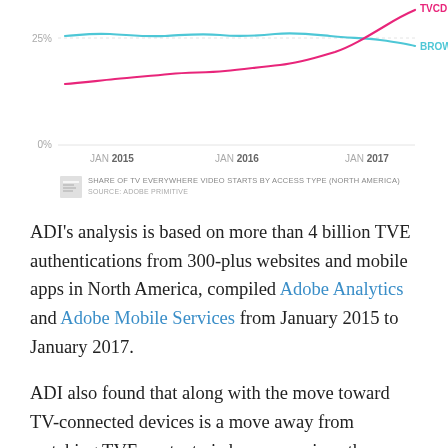[Figure (line-chart): Share of TV Everywhere Video Starts by Access Type (North America)]
SHARE OF TV EVERYWHERE VIDEO STARTS BY ACCESS TYPE (NORTH AMERICA)
SOURCE: ADOBE PRIMITIVE
ADI's analysis is based on more than 4 billion TVE authentications from 300-plus websites and mobile apps in North America, compiled Adobe Analytics and Adobe Mobile Services from January 2015 to January 2017.
ADI also found that along with the move toward TV-connected devices is a move away from watching TVE content via browsers, since the majority of providers